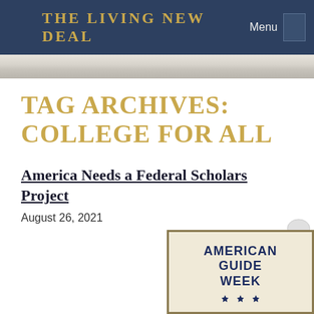THE LIVING NEW DEAL  Menu
TAG ARCHIVES: COLLEGE FOR ALL
America Needs a Federal Scholars Project
August 26, 2021
[Figure (illustration): American Guide Week poster with navy blue text on a beige background, showing stars decorations]